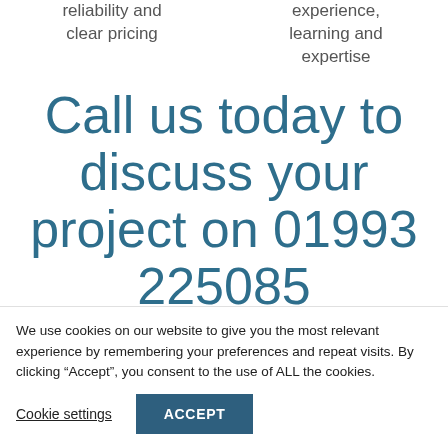reliability and clear pricing
experience, learning and expertise
Call us today to discuss your project on 01993 225085
We use cookies on our website to give you the most relevant experience by remembering your preferences and repeat visits. By clicking “Accept”, you consent to the use of ALL the cookies.
Cookie settings
ACCEPT